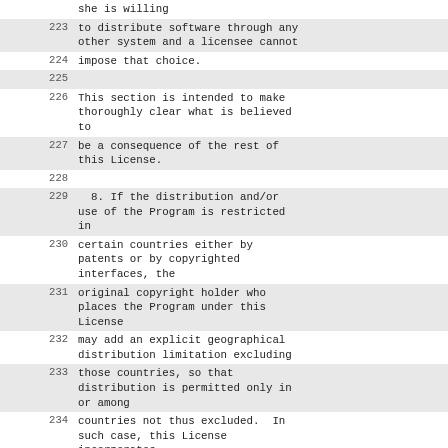| line | text |
| --- | --- |
|  | she is willing |
| 223 | to distribute software through any other system and a licensee cannot |
| 224 | impose that choice. |
| 225 |  |
| 226 | This section is intended to make thoroughly clear what is believed to |
| 227 | be a consequence of the rest of this License. |
| 228 |  |
| 229 |   8. If the distribution and/or use of the Program is restricted in |
| 230 | certain countries either by patents or by copyrighted interfaces, the |
| 231 | original copyright holder who places the Program under this License |
| 232 | may add an explicit geographical distribution limitation excluding |
| 233 | those countries, so that distribution is permitted only in or among |
| 234 | countries not thus excluded.  In such case, this License incorporates |
| 235 | the limitation as if written in the body of this License. |
| 236 |  |